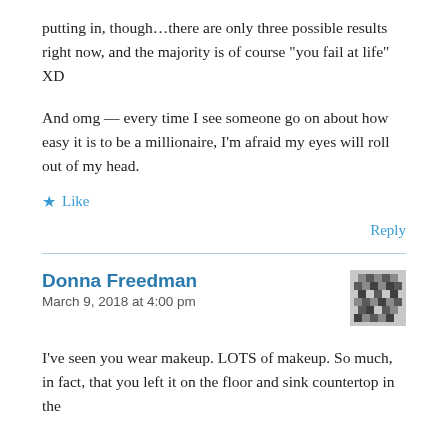putting in, though…there are only three possible results right now, and the majority is of course “you fail at life” XD
And omg — every time I see someone go on about how easy it is to be a millionaire, I’m afraid my eyes will roll out of my head.
★ Like
Reply
Donna Freedman
March 9, 2018 at 4:00 pm
[Figure (illustration): Grayscale pixelated/mosaic avatar icon for Donna Freedman]
I’ve seen you wear makeup. LOTS of makeup. So much, in fact, that you left it on the floor and sink countertop in the